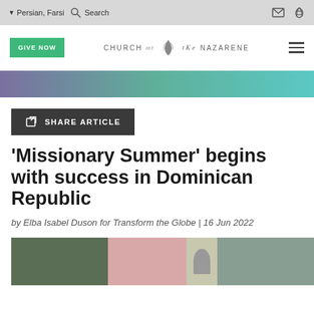▼Persian, Farsi  Search
[Figure (logo): Church of the Nazarene logo with flame icon and text CHURCH OF THE NAZARENE, with GIVE NOW green button and hamburger menu]
[Figure (infographic): Horizontal gradient banner from purple to teal]
SHARE ARTICLE
'Missionary Summer' begins with success in Dominican Republic
by Elba Isabel Duson for Transform the Globe | 16 Jun 2022
[Figure (photo): Photo strip showing scenes from Dominican Republic mission work]